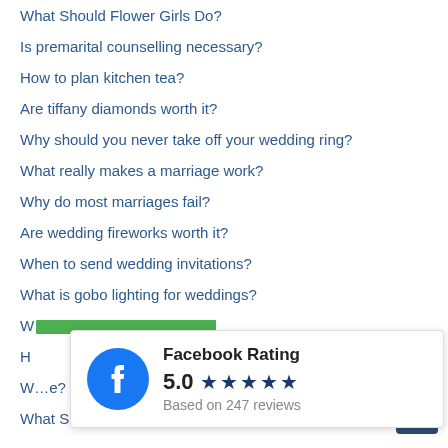What Should Flower Girls Do?
Is premarital counselling necessary?
How to plan kitchen tea?
Are tiffany diamonds worth it?
Why should you never take off your wedding ring?
What really makes a marriage work?
Why do most marriages fail?
Are wedding fireworks worth it?
When to send wedding invitations?
What is gobo lighting for weddings?
W[partially visible]
H[partially visible]
W[partially visible]e?
What Should Bridesmaids Bring To The Wedding?
[Figure (infographic): Facebook Rating popup showing 5.0 stars based on 247 reviews, with Facebook logo icon.]